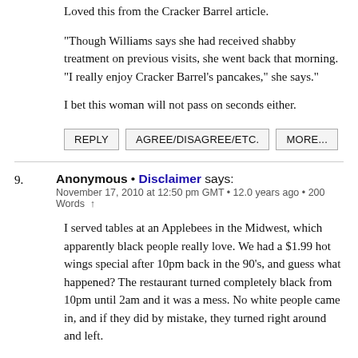Loved this from the Cracker Barrel article.
"Though Williams says she had received shabby treatment on previous visits, she went back that morning. "I really enjoy Cracker Barrel's pancakes," she says."
I bet this woman will not pass on seconds either.
REPLY | AGREE/DISAGREE/ETC. | MORE...
9. Anonymous • Disclaimer says:
November 17, 2010 at 12:50 pm GMT • 12.0 years ago • 200 Words
I served tables at an Applebees in the Midwest, which apparently black people really love. We had a $1.99 hot wings special after 10pm back in the 90's, and guess what happened? The restaurant turned completely black from 10pm until 2am and it was a mess. No white people came in, and if they did by mistake, they turned right around and left.
Blacks ordered basket after basket of wings and water. Huge ghetto black women came in packs of 20 and brought their